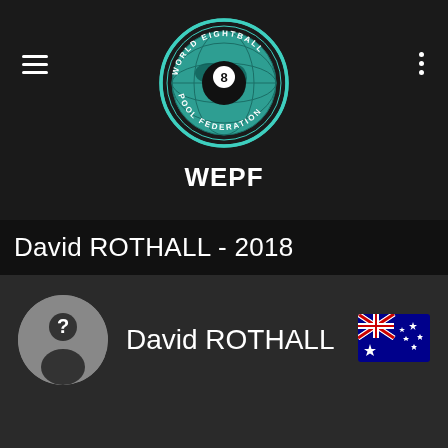[Figure (logo): World Eightball Pool Federation circular logo with globe and 8-ball in center, teal and black color scheme]
WEPF
David ROTHALL - 2018
[Figure (photo): Generic silhouette avatar placeholder image in grey circle]
David ROTHALL
[Figure (illustration): Australian flag emoji]
2018 - Men's Singles